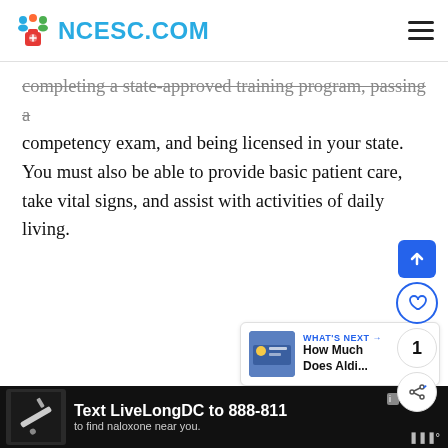NCESC.COM
completing a state-approved training program, passing a competency exam, and being licensed in your state. You must also be able to provide basic patient care, take vital signs, and assist with activities of daily living.
[Figure (screenshot): Sidebar floating action buttons: up arrow (blue), heart (outline), count '1', share icon]
[Figure (screenshot): What's Next panel with thumbnail image and text 'How Much Does Aldi...']
[Figure (infographic): Ad banner: Text 'LiveLongDC to 888-811 to find naloxone near you.' on dark background with ad controls]